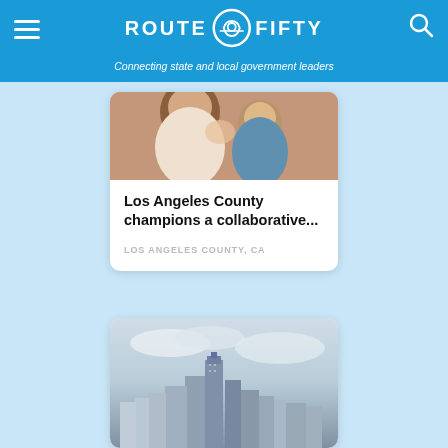ROUTE FIFTY — Connecting state and local government leaders
[Figure (photo): Photo of a woman and child smiling, used as article thumbnail for Los Angeles County article]
Los Angeles County champions a collaborative...
LOS ANGELES COUNTY, CA
[Figure (photo): Aerial photo of a city skyline with tall buildings and cloudy sky]